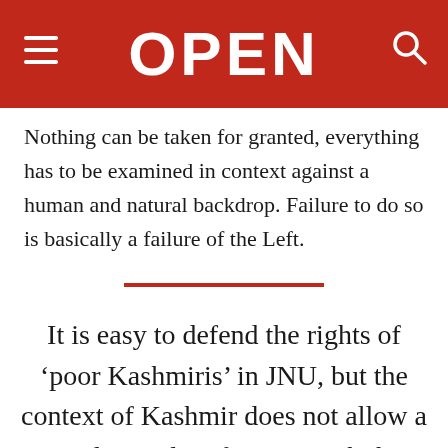OPEN
Nothing can be taken for granted, everything has to be examined in context against a human and natural backdrop. Failure to do so is basically a failure of the Left.
It is easy to defend the rights of ‘poor Kashmiris’ in JNU, but the context of Kashmir does not allow a simplistic identification with this side or that